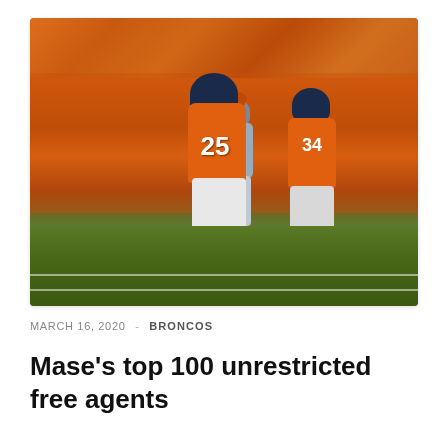[Figure (photo): Denver Broncos player wearing jersey number 25 celebrating on the field with arm raised, another Broncos player (number 34) behind him, crowd in orange in the background]
MARCH 16, 2020  -  BRONCOS
Mase’s top 100 unrestricted free agents